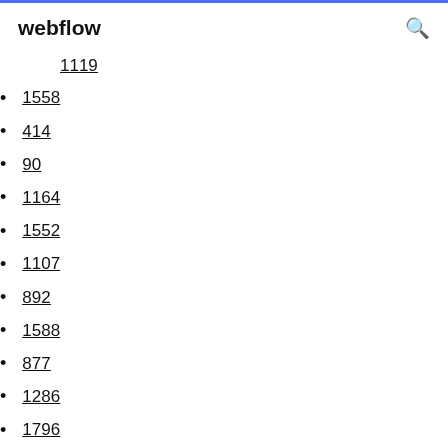webflow
1119
1558
414
90
1164
1552
1107
892
1588
877
1286
1796
797